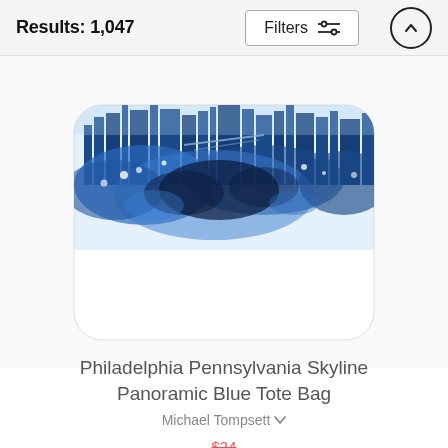Results: 1,047
[Figure (photo): Philadelphia Pennsylvania Skyline Panoramic Blue tote bag product image showing a white bag with a blue watercolor cityscape/skyline splatter design across the top portion]
Philadelphia Pennsylvania Skyline Panoramic Blue Tote Bag
Michael Tompsett ∨
$24
$19